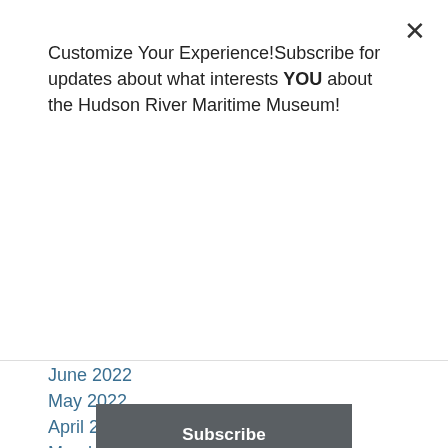Customize Your Experience!Subscribe for updates about what interests YOU about the Hudson River Maritime Museum!
Subscribe
June 2022
May 2022
April 2022
March 2022
February 2022
January 2022
December 2021
November 2021
October 2021
September 2021
August 2021
July 2021
June 2021